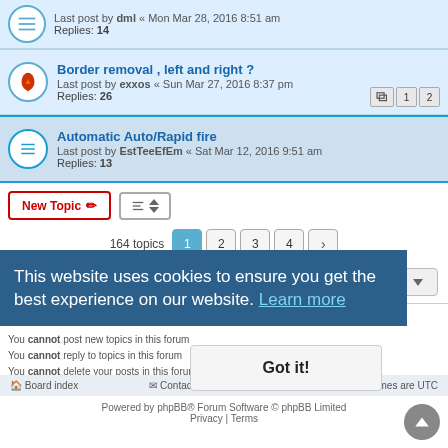Border removal , left and right ? — Last post by exxos « Sun Mar 27, 2016 8:37 pm — Replies: 26
Automatic Auto/Rapid fire — Last post by EstTeeEfEm « Sat Mar 12, 2016 9:51 am — Replies: 13
New Topic | Sort | 164 topics | 1 2 3 4 > | Jump to
FORUM PERMISSIONS
You cannot post new topics in this forum.
You cannot reply to topics in this forum.
You cannot delete your posts in this forum.
This website uses cookies to ensure you get the best experience on our website. Learn more
Got it!
Board index | Contact us | Delete cookies | All times are UTC
Powered by phpBB® Forum Software © phpBB Limited
Privacy | Terms